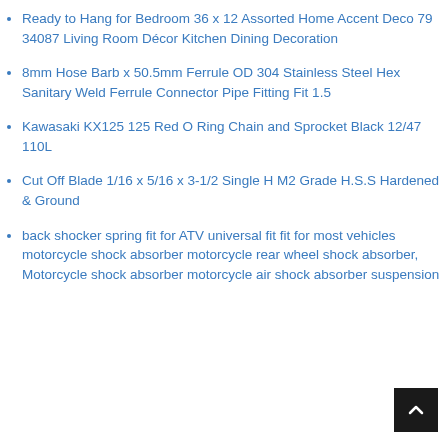Ready to Hang for Bedroom 36 x 12 Assorted Home Accent Deco 79 34087 Living Room Décor Kitchen Dining Decoration
8mm Hose Barb x 50.5mm Ferrule OD 304 Stainless Steel Hex Sanitary Weld Ferrule Connector Pipe Fitting Fit 1.5
Kawasaki KX125 125 Red O Ring Chain and Sprocket Black 12/47 110L
Cut Off Blade 1/16 x 5/16 x 3-1/2 Single H M2 Grade H.S.S Hardened & Ground
back shocker spring fit for ATV universal fit fit for most vehicles motorcycle shock absorber motorcycle rear wheel shock absorber, Motorcycle shock absorber motorcycle air shock absorber suspension
[Figure (other): Back to top button — black square with upward chevron arrow in white]